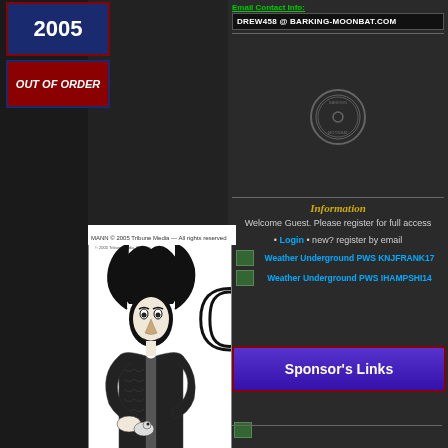[Figure (other): Dark decorative background with aged/textured appearance on left and right edges]
2005
OUT OF ORDER
Email Contact Info:
DREW458 @ BARKING-MOONBAT.COM
[Figure (other): Circular watermark/stamp graphic, semi-transparent]
Information
Welcome Guest. Please register for full access
• Login • new? register by email
Weather Underground PWS KNJFRANK17
Weather Underground PWS IHAMPSHI14
[Figure (illustration): Editorial cartoon showing a caricature of a woman with wild hair holding something, black and white ink drawing]
Sponsor's Links
[Figure (other): Small green icon/image thumbnail at bottom]